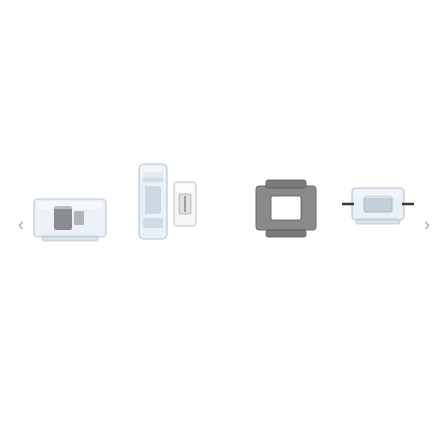[Figure (photo): Product carousel showing four electronic fuse/connector components on a white background. From left to right: (1) a transparent rectangular fuse holder with internal metal contacts, (2) two separate components - a clear rectangular fuse holder body and a small rectangular fuse element side by side, (3) a flat gray/silver ANL-style fuse blade with central rectangular opening, (4) a transparent elongated fuse holder with wires attached. Navigation arrows (< and >) on the left and right edges of the image.]